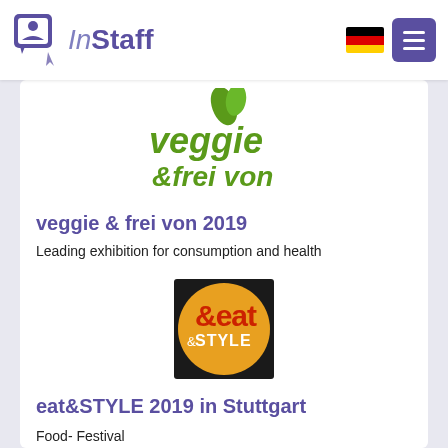InStaff
[Figure (logo): veggie & frei von logo with green text and leaf icon]
veggie & frei von 2019
Leading exhibition for consumption and health
22.11. till 24.11.2019 in Stuttgart
[Figure (logo): eat&STYLE logo: orange circle with red and white text]
eat&STYLE 2019 in Stuttgart
Food- Festival
22.11. till 24.11.2019 in Stuttgart